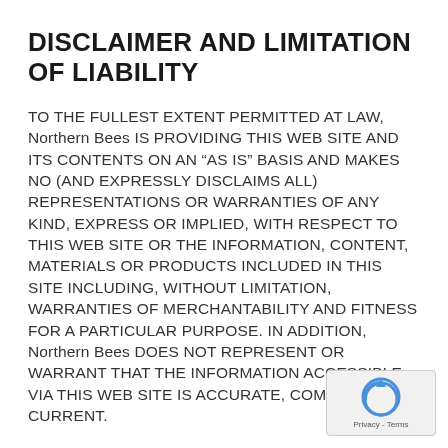DISCLAIMER AND LIMITATION OF LIABILITY
TO THE FULLEST EXTENT PERMITTED AT LAW, Northern Bees IS PROVIDING THIS WEB SITE AND ITS CONTENTS ON AN “AS IS” BASIS AND MAKES NO (AND EXPRESSLY DISCLAIMS ALL) REPRESENTATIONS OR WARRANTIES OF ANY KIND, EXPRESS OR IMPLIED, WITH RESPECT TO THIS WEB SITE OR THE INFORMATION, CONTENT, MATERIALS OR PRODUCTS INCLUDED IN THIS SITE INCLUDING, WITHOUT LIMITATION, WARRANTIES OF MERCHANTABILITY AND FITNESS FOR A PARTICULAR PURPOSE. IN ADDITION, Northern Bees DOES NOT REPRESENT OR WARRANT THAT THE INFORMATION ACCESSIBLE VIA THIS WEB SITE IS ACCURATE, COMPLETE OR CURRENT.